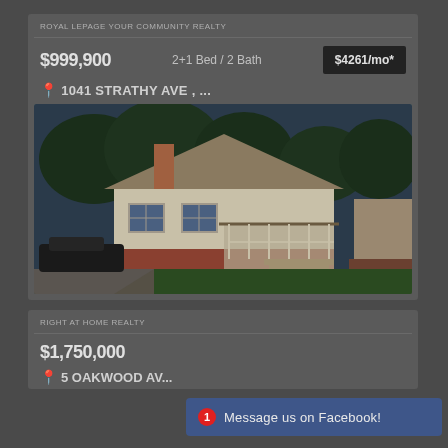ROYAL LEPAGE YOUR COMMUNITY REALTY
$999,900   2+1 Bed / 2 Bath   $4261/mo*
1041 STRATHY AVE , ...
[Figure (photo): Exterior photo of a single-storey residential house with beige siding, front porch with railing, and landscaped yard]
RIGHT AT HOME REALTY
$1,750,000
5 OAKWOOD AV...
Message us on Facebook!